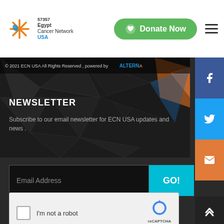Egypt Cancer Network 57357 USA — Donate Now
© 2021 ECN USA All Rights Reserved , powered by ALTERNA
NEWSLETTER
Subscribe to our email newsletter for ECN USA updates and news .
[Figure (screenshot): Email address input field with GO! button and reCAPTCHA widget showing 'I'm not a robot' checkbox]
[Figure (infographic): Social media icons at bottom: Facebook, Twitter, YouTube]